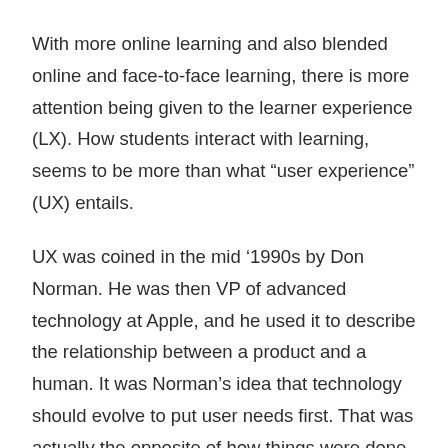With more online learning and also blended online and face-to-face learning, there is more attention being given to the learner experience (LX). How students interact with learning, seems to be more than what “user experience” (UX) entails.
UX was coined in the mid ’1990s by Don Norman. He was then VP of advanced technology at Apple, and he used it to describe the relationship between a product and a human. It was Norman’s idea that technology should evolve to put user needs first. That was actually the opposite of how things were done at Apple and most companies. But by 2005, UX was fairly mainstream.
“Learning experience design” was coined by Niels Floor in 2007, who taught at Avans University of Applied Sciences